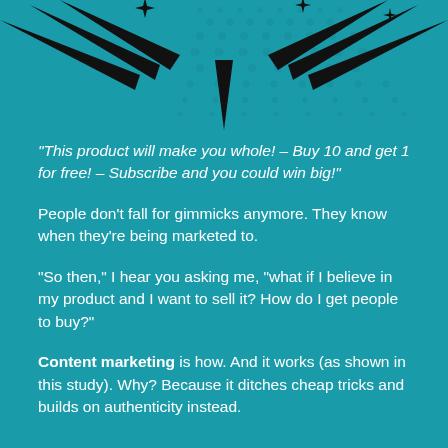[Figure (illustration): Comic-book style starburst explosion graphic with black jagged rays and teal halftone dot pattern on teal background at the top of the page]
“This product will make you whole! – Buy 10 and get 1 for free! – Subscribe and you could win big!”
People don’t fall for gimmicks anymore. They know when they’re being marketed to.
“So then,” I hear you asking me, “what if I believe in my product and I want to sell it? How do I get people to buy?”
Content marketing is how. And it works (as shown in this study). Why? Because it ditches cheap tricks and builds on authenticity instead.